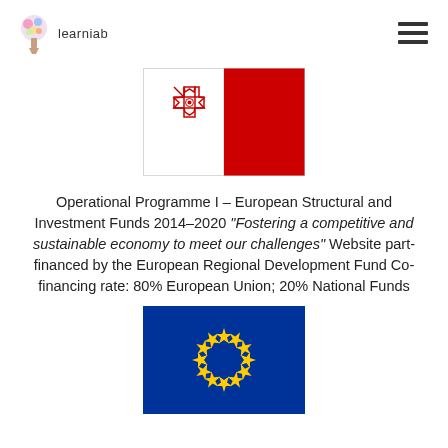learniab
[Figure (illustration): Flag of Malta — left half white with red cross of Malta in upper left corner, right half solid red]
Operational Programme I – European Structural and Investment Funds 2014–2020 "Fostering a competitive and sustainable economy to meet our challenges" Website part-financed by the European Regional Development Fund Co-financing rate: 80% European Union; 20% National Funds
[Figure (illustration): Flag of the European Union — blue background with circle of 12 yellow stars]